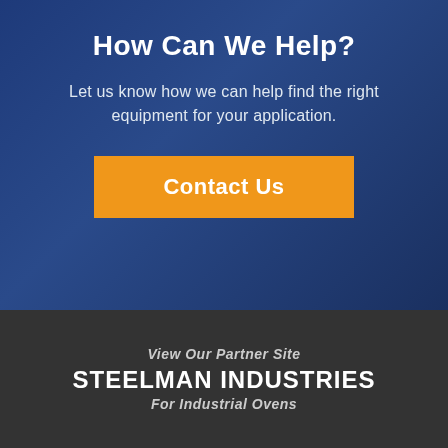How Can We Help?
Let us know how we can help find the right equipment for your application.
[Figure (other): Orange 'Contact Us' button on blue background]
View Our Partner Site
STEELMAN INDUSTRIES
For Industrial Ovens